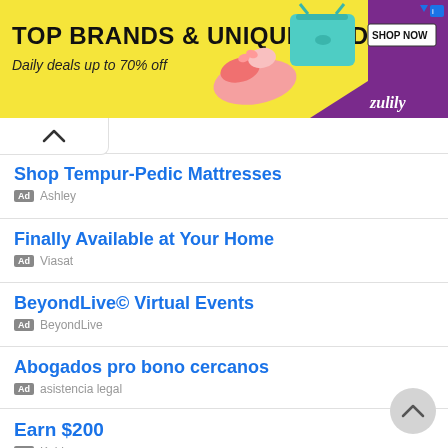[Figure (screenshot): Zulily banner advertisement: yellow-purple background with shoes and handbag images, 'TOP BRANDS & UNIQUE FINDS' headline, 'Daily deals up to 70% off' subtext, SHOP NOW button, Zulily logo]
Shop Tempur-Pedic Mattresses
Ad  Ashley
Finally Available at Your Home
Ad  Viasat
BeyondLive© Virtual Events
Ad  BeyondLive
Abogados pro bono cercanos
Ad  asistencia legal
Earn $200
Ad  Kabbage